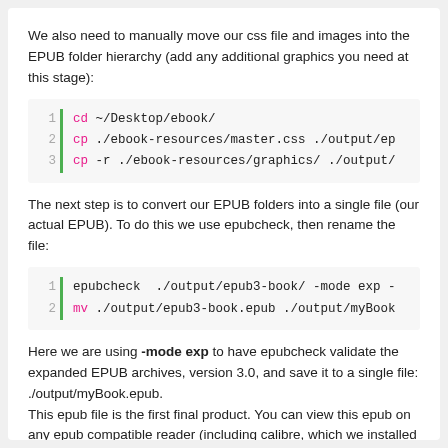We also need to manually move our css file and images into the EPUB folder hierarchy (add any additional graphics you need at this stage):
[Figure (screenshot): Code block showing 3 lines: 1 cd ~/Desktop/ebook/  2 cp ./ebook-resources/master.css ./output/ep  3 cp -r ./ebook-resources/graphics/ ./output/]
The next step is to convert our EPUB folders into a single file (our actual EPUB). To do this we use epubcheck, then rename the file:
[Figure (screenshot): Code block showing 2 lines: 1 epubcheck  ./output/epub3-book/ -mode exp -  2 mv ./output/epub3-book.epub ./output/myBook]
Here we are using -mode exp to have epubcheck validate the expanded EPUB archives, version 3.0, and save it to a single file: ./output/myBook.epub.
This epub file is the first final product. You can view this epub on any epub compatible reader (including calibre, which we installed earlier).